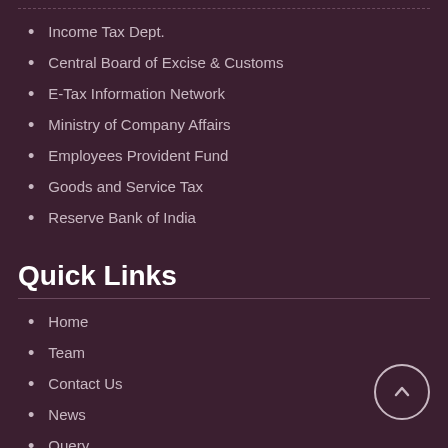Income Tax Dept.
Central Board of Excise & Customs
E-Tax Information Network
Ministry of Company Affairs
Employees Provident Fund
Goods and Service Tax
Reserve Bank of India
Quick Links
Home
Team
Contact Us
News
Query
Disclaimer